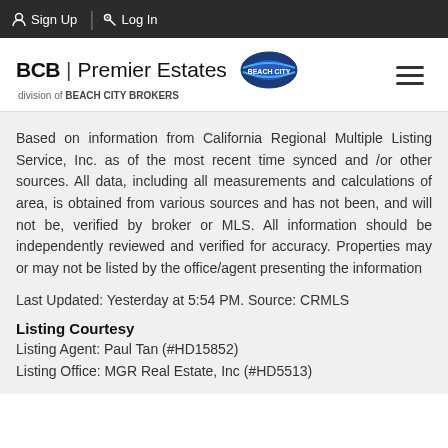Sign Up | Log In
[Figure (logo): BCB | Premier Estates logo with Beach City Brokers emblem and hamburger menu icon]
Based on information from California Regional Multiple Listing Service, Inc. as of the most recent time synced and /or other sources. All data, including all measurements and calculations of area, is obtained from various sources and has not been, and will not be, verified by broker or MLS. All information should be independently reviewed and verified for accuracy. Properties may or may not be listed by the office/agent presenting the information
Last Updated: Yesterday at 5:54 PM. Source: CRMLS
Listing Courtesy
Listing Agent: Paul Tan (#HD15852)
Listing Office: MGR Real Estate, Inc (#HD5513)